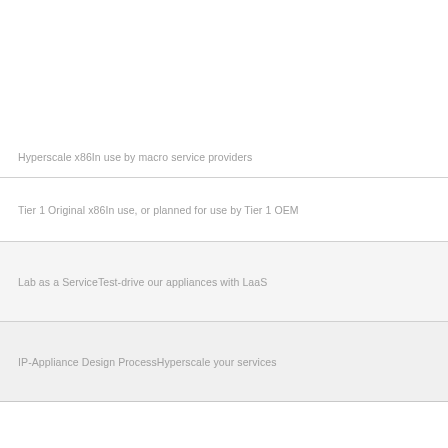Hyperscale x86In use by macro service providers
Tier 1 Original x86In use, or planned for use by Tier 1 OEM
Lab as a ServiceTest-drive our appliances with LaaS
IP-Appliance Design ProcessHyperscale your services